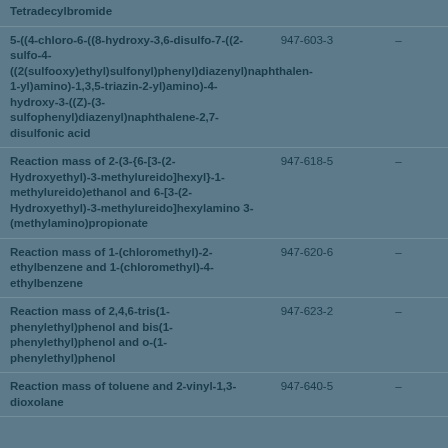| Substance name | EC number |  |
| --- | --- | --- |
| Tetradecylbromide |  |  |
| 5-((4-chloro-6-((8-hydroxy-3,6-disulfo-7-((2-sulfo-4-((2(sulfooxy)ethyl)sulfonyl)phenyl)diazenyl)naphthalen-1-yl)amino)-1,3,5-triazin-2-yl)amino)-4-hydroxy-3-((Z)-(3-sulfophenyl)diazenyl)naphthalene-2,7-disulfonic acid | 947-603-3 | – |
| Reaction mass of 2-(3-{6-[3-(2-Hydroxyethyl)-3-methylureido]hexyl}-1-methylureido)ethanol and 6-[3-(2-Hydroxyethyl)-3-methylureido]hexylamino 3-(methylamino)propionate | 947-618-5 | – |
| Reaction mass of 1-(chloromethyl)-2-ethylbenzene and 1-(chloromethyl)-4-ethylbenzene | 947-620-6 | – |
| Reaction mass of 2,4,6-tris(1-phenylethyl)phenol and bis(1-phenylethyl)phenol and o-(1-phenylethyl)phenol | 947-623-2 | – |
| Reaction mass of toluene and 2-vinyl-1,3-dioxolane | 947-640-5 | – |